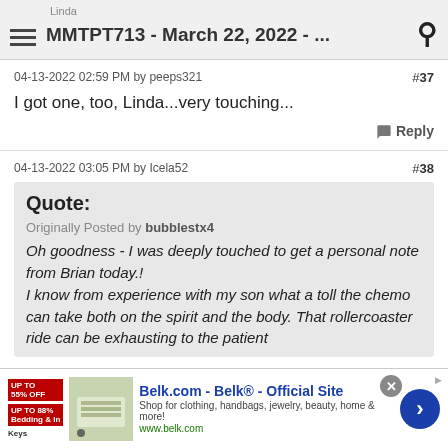Linda
MMTPT713 - March 22, 2022 - ...
04-13-2022 02:59 PM by peeps321
#37
I got one, too, Linda...very touching...
Reply
04-13-2022 03:05 PM by Icela52
#38
Quote:
Originally Posted by bubblestx4
Oh goodness - I was deeply touched to get a personal note from Brian today.!
I know from experience with my son what a toll the chemo can take both on the spirit and the body. That rollercoaster ride can be exhausting to the patient
[Figure (screenshot): Advertisement for Belk.com - Belk Official Site. Shows bedding product image, up to 55% off badges, and a blue arrow button.]